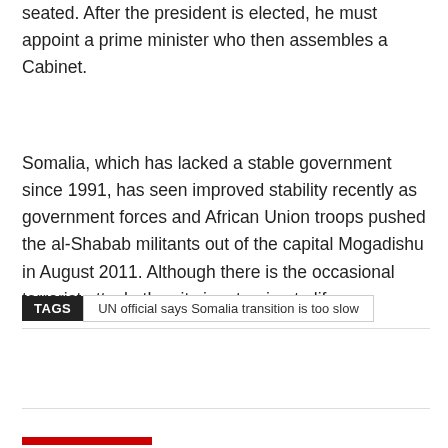seated. After the president is elected, he must appoint a prime minister who then assembles a Cabinet.
Somalia, which has lacked a stable government since 1991, has seen improved stability recently as government forces and African Union troops pushed the al-Shabab militants out of the capital Mogadishu in August 2011. Although there is the occasional terrorist attack, the city is returning to life.
TAGS  UN official says Somalia transition is too slow